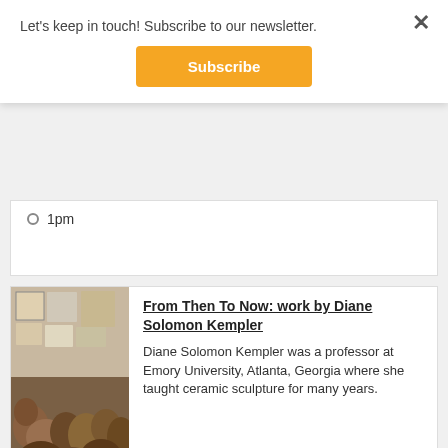Let's keep in touch! Subscribe to our newsletter.
Subscribe
1pm
[Figure (photo): Photo of ceramic sculptures in an art gallery setting, with artwork and prints visible in the background. Date label reads SEP 5 - SEP 14.]
From Then To Now: work by Diane Solomon Kempler
Diane Solomon Kempler was a professor at Emory University, Atlanta, Georgia where she taught ceramic sculpture for many years.